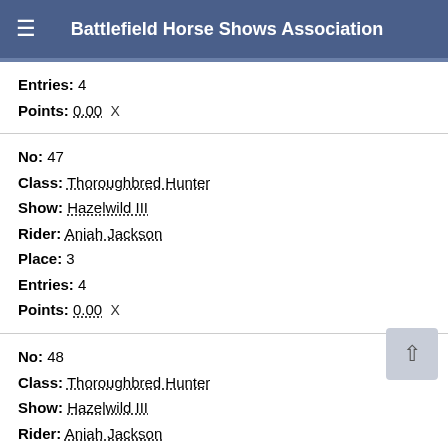Battlefield Horse Shows Association
Entries: 4
Points: 0.00 X
No: 47
Class: Thoroughbred Hunter
Show: Hazelwild III
Rider: Aniah Jackson
Place: 3
Entries: 4
Points: 0.00 X
No: 48
Class: Thoroughbred Hunter
Show: Hazelwild III
Rider: Aniah Jackson
Place: 2
Entries: 4
Points: 0.00 X
No: 47
Class: Thoroughbred Hunter